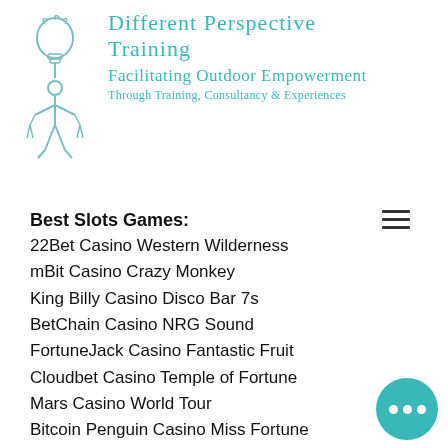[Figure (logo): Different Perspective Training logo with lightbulb and figure, teal colored text reading 'Different Perspective Training / Facilitating Outdoor Empowerment / Through Training, Consultancy & Experiences']
Best Slots Games:
22Bet Casino Western Wilderness
mBit Casino Crazy Monkey
King Billy Casino Disco Bar 7s
BetChain Casino NRG Sound
FortuneJack Casino Fantastic Fruit
Cloudbet Casino Temple of Fortune
Mars Casino World Tour
Bitcoin Penguin Casino Miss Fortune
Bitcoin Penguin Casino Jazz Spin
Bitcoin Penguin Casino Dragons Pearl
mBit Casino Fortune Cat
Oshi Casino Baseball
Betchan Casino Arctic Fortune
mBTC free bet Pharaos Riches Red Hot Firepot